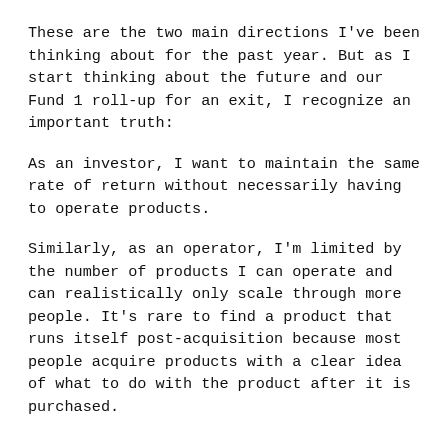These are the two main directions I've been thinking about for the past year. But as I start thinking about the future and our Fund 1 roll-up for an exit, I recognize an important truth:
As an investor, I want to maintain the same rate of return without necessarily having to operate products.
Similarly, as an operator, I'm limited by the number of products I can operate and can realistically only scale through more people. It's rare to find a product that runs itself post-acquisition because most people acquire products with a clear idea of what to do with the product after it is purchased.